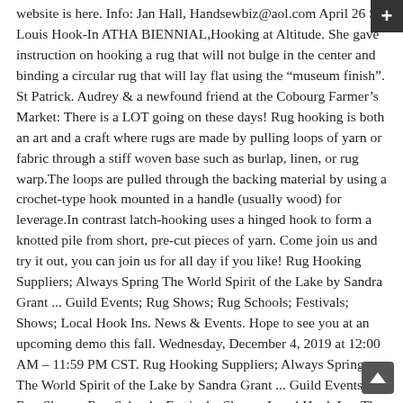website is here. Info: Jan Hall, Handsewbiz@aol.com April 26 St. Louis Hook-In ATHA BIENNIAL,Hooking at Altitude. She gave instruction on hooking a rug that will not bulge in the center and binding a circular rug that will lay flat using the “museum finish”. St Patrick. Audrey & a newfound friend at the Cobourg Farmer’s Market: There is a LOT going on these days! Rug hooking is both an art and a craft where rugs are made by pulling loops of yarn or fabric through a stiff woven base such as burlap, linen, or rug warp.The loops are pulled through the backing material by using a crochet-type hook mounted in a handle (usually wood) for leverage.In contrast latch-hooking uses a hinged hook to form a knotted pile from short, pre-cut pieces of yarn. Come join us and try it out, you can join us for all day if you like! Rug Hooking Suppliers; Always Spring The World Spirit of the Lake by Sandra Grant ... Guild Events; Rug Shows; Rug Schools; Festivals; Shows; Local Hook Ins. News & Events. Hope to see you at an upcoming demo this fall. Wednesday, December 4, 2019 at 12:00 AM – 11:59 PM CST. Rug Hooking Suppliers; Always Spring The World Spirit of the Lake by Sandra Grant ... Guild Events; Rug Shows; Rug Schools; Festivals; Shows; Local Hook Ins. The camaraderie, inspiration lots of laughs with people who share a love for rug hooking are